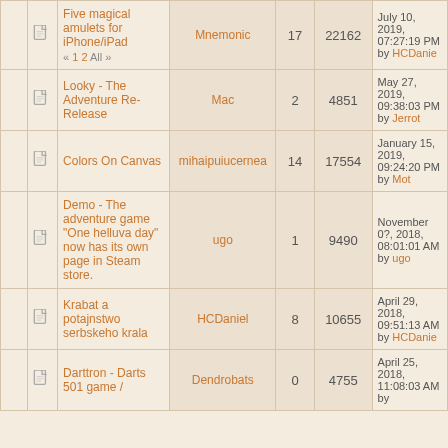|  |  | Title | Author | Replies | Views | Last Post |
| --- | --- | --- | --- | --- | --- | --- |
|  |  | Five magical amulets for iPhone/iPad « 1 2 All » | Mnemonic | 17 | 22162 | July 10, 2019, 07:27:19 PM by HCDanie... |
|  |  | Looky - The Adventure Re-Release | Mac | 2 | 4851 | May 27, 2019, 09:38:03 PM by Jerrot |
|  |  | Colors On Canvas | mihaipuiucernea | 14 | 17554 | January 15, 2019, 09:24:20 PM by Mot |
|  |  | Demo - The adventure game "One helluva day" now has its own page in Steam store. | ugo | 1 | 9490 | November 0?, 2018, 08:01:01 AM by ugo |
|  |  | Krabat a potajnstwo serbskeho krala | HCDaniel | 8 | 10655 | April 29, 2018, 09:51:13 AM by HCDanie... |
|  |  | Darttron - Darts 501 game / | Dendrobats | 0 | 4755 | April 25, 2018, 11:08:03 AM by ... |